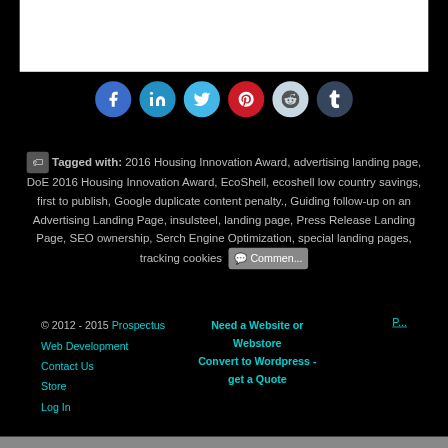[Figure (other): White content block at top of page]
[Figure (other): Row of social media share buttons: Facebook (blue), LinkedIn (teal-blue), Twitter (light blue), Pinterest (red), Reddit (light blue-gray), Tumblr (dark slate)]
Tagged with: 2016 Housing Innovation Award, advertising landing page, DoE 2016 Housing Innovation Award, EcoShell, ecoshell low country savings, first to publish, Google duplicate content penalty., Guiding follow-up on an Advertising Landing Page, insulsteel, landing page, Press Release Landing Page, SEO ownership, Serch Engine Optimization, special landing pages, tracking cookies
Comments
© 2012 - 2015 Prospectus Web Development Contact Us Store Log In | Need a Website or Webstore Convert to Wordpress - get a Quote | P...